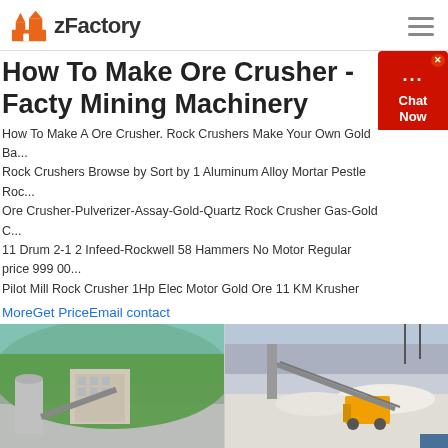zFactory
How To Make Ore Crusher - Facty Mining Machinery
How To Make A Ore Crusher. Rock Crushers Make Your Own Gold Ba... Rock Crushers Browse by Sort by 1 Aluminum Alloy Mortar Pestle Roc... Ore Crusher-Pulverizer-Assay-Gold-Quartz Rock Crusher Gas-Gold C... 11 Drum 2-1 2 Infeed-Rockwell 58 Hammers No Motor Regular price 999 00... Pilot Mill Rock Crusher 1Hp Elec Motor Gold Ore 11 KM Krusher
MoreGet PriceEmail contact
[Figure (photo): Two side-by-side photos of mining/quarry crusher machinery and industrial equipment]
How To Make An Ore Crusher - christian-mrozek